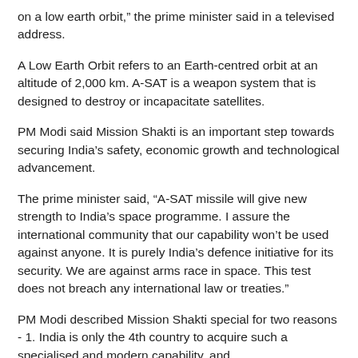on a low earth orbit," the prime minister said in a televised address.
A Low Earth Orbit refers to an Earth-centred orbit at an altitude of 2,000 km. A-SAT is a weapon system that is designed to destroy or incapacitate satellites.
PM Modi said Mission Shakti is an important step towards securing India's safety, economic growth and technological advancement.
The prime minister said, “A-SAT missile will give new strength to India’s space programme. I assure the international community that our capability won’t be used against anyone. It is purely India’s defence initiative for its security. We are against arms race in space. This test does not breach any international law or treaties.”
PM Modi described Mission Shakti special for two reasons - 1. India is only the 4th country to acquire such a specialised and modern capability, and
2. Entire effort is indigenous. “India stands tall as a space